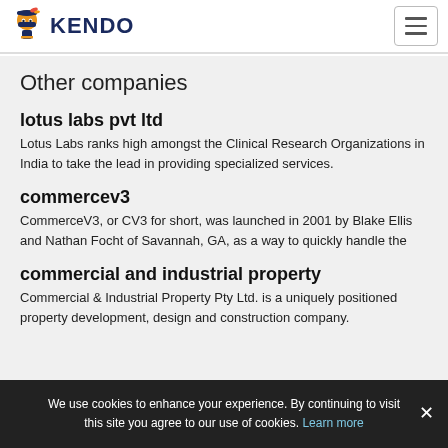KENDO
Other companies
lotus labs pvt ltd
Lotus Labs ranks high amongst the Clinical Research Organizations in India to take the lead in providing specialized services.
commercev3
CommerceV3, or CV3 for short, was launched in 2001 by Blake Ellis and Nathan Focht of Savannah, GA, as a way to quickly handle the
commercial and industrial property
Commercial & Industrial Property Pty Ltd. is a uniquely positioned property development, design and construction company.
We use cookies to enhance your experience. By continuing to visit this site you agree to our use of cookies. Learn more